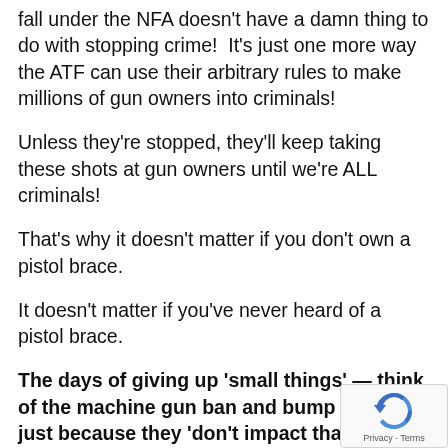fall under the NFA doesn't have a damn thing to do with stopping crime!  It's just one more way the ATF can use their arbitrary rules to make millions of gun owners into criminals!
Unless they're stopped, they'll keep taking these shots at gun owners until we're ALL criminals!
That's why it doesn't matter if you don't own a pistol brace.
It doesn't matter if you've never heard of a pistol brace.
The days of giving up 'small things' — think of the machine gun ban and bump stocks — just because they 'don't impact that many gun owners' was a failed tactic that the NRA employed for decades at great cost to our gun rights!